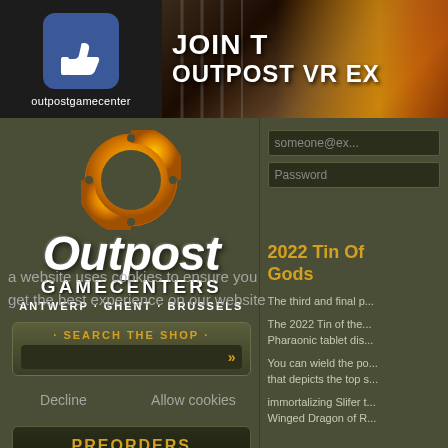[Figure (screenshot): Facebook thumbs-up logo icon with 'outpostgamecenter' text below]
[Figure (photo): Banner with fire/dark background showing JOIN THE OUTPOST VR EX... text]
[Figure (logo): Outpost Gamecenters logo with orange ring, white text, ANTWERP GHENT BRUSSELS]
• SEARCH THE SHOP •
a website uses cookies to ensure you get the best experience on our website
PREORDERS
Decline    Allow cookies
[Figure (photo): Dominaria game product image with stylized logo text]
someone@ex...
Password
2022 Tin Of Gods
The third and final p...
The 2022 Tin of the... Pharaonic tablet dis...
You can wield the po... that depicts the top s...
immortalizing Slifer t... Winged Dragon of R...